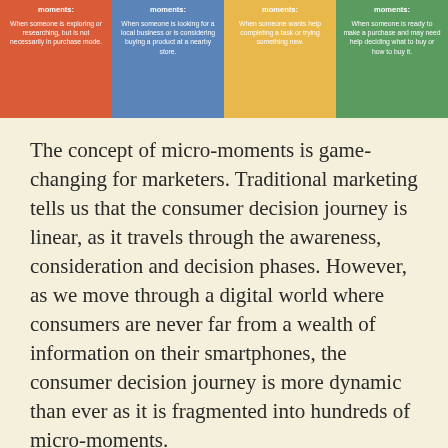[Figure (infographic): Four colored boxes representing four types of micro-moments: I-want-to-know moments (red), I-want-to-go moments (blue), I-want-to-do moments (yellow), I-want-to-buy moments (green), each with a short description in white text.]
The concept of micro-moments is game-changing for marketers. Traditional marketing tells us that the consumer decision journey is linear, as it travels through the awareness, consideration and decision phases. However, as we move through a digital world where consumers are never far from a wealth of information on their smartphones, the consumer decision journey is more dynamic than ever as it is fragmented into hundreds of micro-moments.
As we act on our needs in these micro-moments, our expectations are high and our patience low. This means